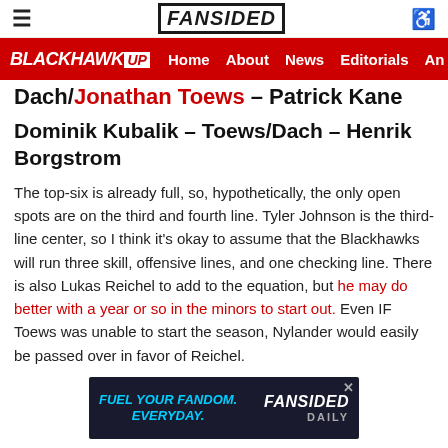FanSided — BlackhawkUp navigation: Home, About, News, Editorials, An…
Dach/Jonathan Toews – Patrick Kane
Dominik Kubalik – Toews/Dach – Henrik Borgstrom
The top-six is already full, so, hypothetically, the only open spots are on the third and fourth line. Tyler Johnson is the third-line center, so I think it's okay to assume that the Blackhawks will run three skill, offensive lines, and one checking line. There is also Lukas Reichel to add to the equation, but he may do better with a year or so in the minors to start out. Even IF Toews was unable to start the season, Nylander would easily be passed over in favor of Reichel.
[Figure (other): FanSided Daily advertisement banner: 'Fuel your fandom. Everyday.' with FanSided Daily logo on dark background]